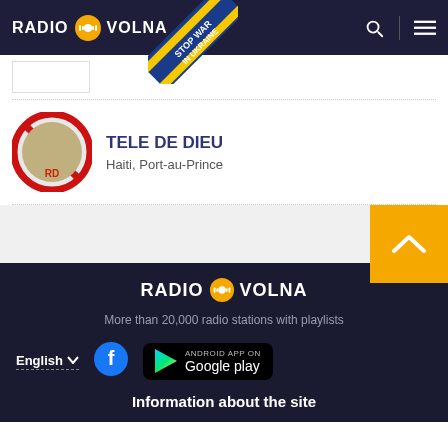RADIO VOLNA
[Figure (illustration): Stop War In Ukraine ribbon badge in blue and yellow diagonal banner]
[Figure (logo): Tele De Dieu round logo with red circle and prohibition sign]
TELE DE DIEU
Haiti, Port-au-Prince
[Figure (illustration): Yellow scroll-to-top button with white chevron arrow]
[Figure (logo): Radio Volna footer logo]
More than 20,000 radio stations with playlists
[Figure (illustration): Facebook icon blue circle with white F]
[Figure (screenshot): Android App on Google Play badge]
Information about the site